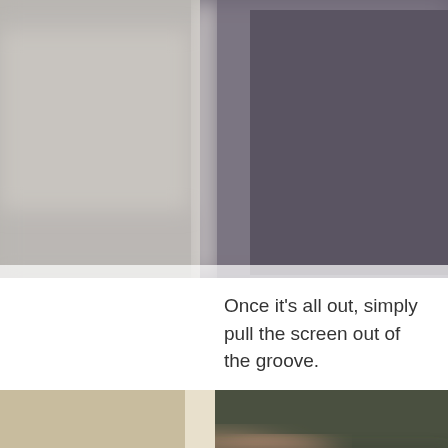[Figure (photo): Blurry close-up photo showing a screen being removed, with light gray on the left and dark purple/gray on the right, depicting a window screen in a groove.]
Once it's all out, simply pull the screen out of the groove.
[Figure (photo): Blurry close-up photo of a hand pulling a dark window screen panel out of a groove, with beige wall background on the left and dark screen on the right.]